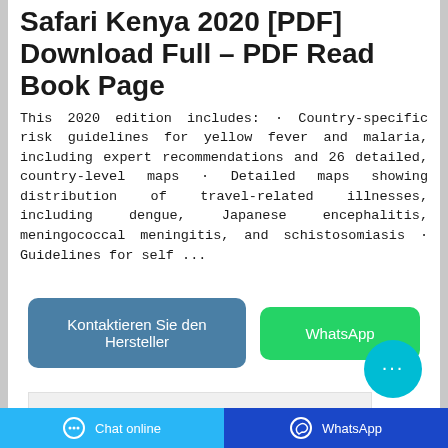Safari Kenya 2020 [PDF] Download Full – PDF Read Book Page
This 2020 edition includes: · Country-specific risk guidelines for yellow fever and malaria, including expert recommendations and 26 detailed, country-level maps · Detailed maps showing distribution of travel-related illnesses, including dengue, Japanese encephalitis, meningococcal meningitis, and schistosomiasis · Guidelines for self ...
[Figure (screenshot): Two UI buttons: 'Kontaktieren Sie den Hersteller' (dark teal/blue rounded button) and 'WhatsApp' (green rounded button), plus a circular cyan chat bubble icon with ellipsis]
[Figure (photo): Partial light gray image placeholder at the bottom of the card]
Chat online   WhatsApp